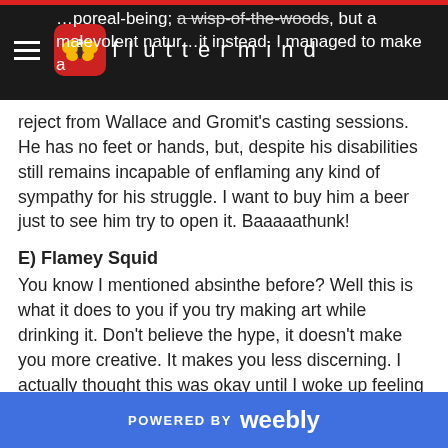fluttermind — …poreal-being; …a wisp-of-the-woods, but a malevolent natur… instead. I managed to make a
reject from Wallace and Gromit's casting sessions. He has no feet or hands, but, despite his disabilities still remains incapable of enflaming any kind of sympathy for his struggle. I want to buy him a beer just to see him try to open it. Baaaaathunk!
E) Flamey Squid
You know I mentioned absinthe before? Well this is what it does to you if you try making art while drinking it. Don't believe the hype, it doesn't make you more creative. It makes you less discerning. I actually thought this was okay until I woke up feeling like my tongue had been swapped with a slug. A fire with antlers extending out of its rear and a sticker for a face isn't a Demon, it's a symptom of
POWERED BY weebly